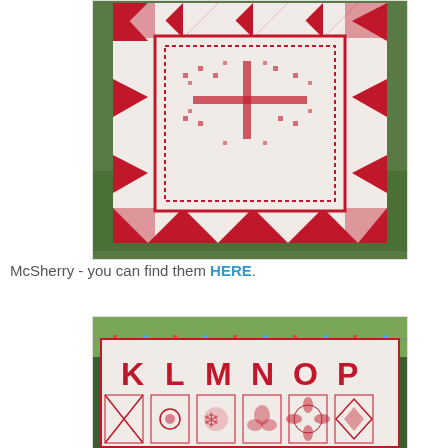[Figure (photo): A red and white quilt with triangular border blocks and a central medallion featuring a cross/star pixel pattern, hung outdoors on green grass background.]
McSherry - you can find them HERE.
[Figure (photo): A red and white sampler quilt hung on a clothesline outdoors, showing alphabet letters K, L, M, N, O, P and decorative applique blocks with floral and geometric patterns.]